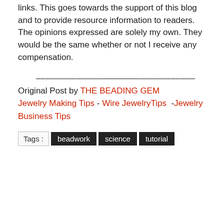links. This goes towards the support of this blog and to provide resource information to readers. The opinions expressed are solely my own. They would be the same whether or not I receive any compensation.
________________________________
Original Post by THE BEADING GEM
Jewelry Making Tips - Wire JewelryTips -Jewelry Business Tips
Tags : beadwork science tutorial